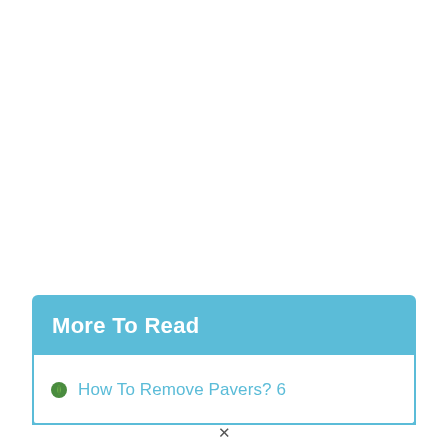More To Read
How To Remove Pavers? 6